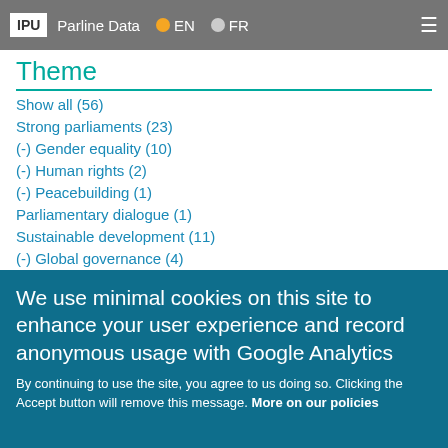IPU Parline Data EN FR
Theme
Show all (56)
Strong parliaments (23)
(-) Gender equality (10)
(-) Human rights (2)
(-) Peacebuilding (1)
Parliamentary dialogue (1)
Sustainable development (11)
(-) Global governance (4)
Climate change (1)
Health (3)
News
We use minimal cookies on this site to enhance your user experience and record anonymous usage with Google Analytics
By continuing to use the site, you agree to us doing so. Clicking the Accept button will remove this message. More on our policies